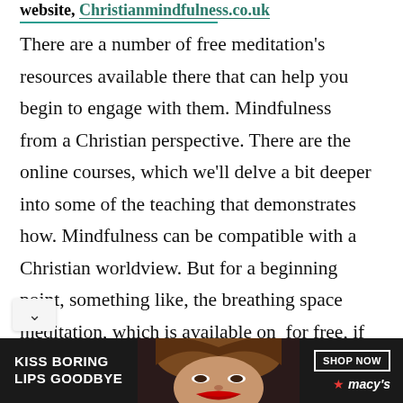website, Christianmindfulness.co.uk
There are a number of free meditation's resources available there that can help you begin to engage with them. Mindfulness from a Christian perspective. There are the online courses, which we'll delve a bit deeper into some of the teaching that demonstrates how. Mindfulness can be compatible with a Christian worldview. But for a beginning point, something like, the breathing space meditation, which is available on  for free, if you go on the home page and scroll to the om of the home page, you can go straight
[Figure (photo): Advertisement banner for Macy's lip product. Dark background with woman's face showing red lips. Text reads 'KISS BORING LIPS GOODBYE' with 'SHOP NOW' button and Macy's star logo.]